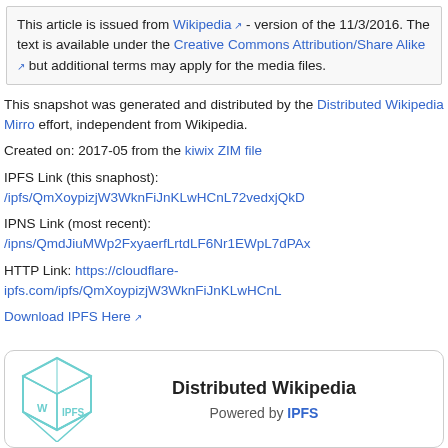This article is issued from Wikipedia - version of the 11/3/2016. The text is available under the Creative Commons Attribution/Share Alike but additional terms may apply for the media files.
This snapshot was generated and distributed by the Distributed Wikipedia Mirro effort, independent from Wikipedia.
Created on: 2017-05 from the kiwix ZIM file
IPFS Link (this snaphost): /ipfs/QmXoypizjW3WknFiJnKLwHCnL72vedxjQkD
IPNS Link (most recent): /ipns/QmdJiuMWp2FxyaerfLrtdLF6Nr1EWpL7dPAx
HTTP Link: https://cloudflare-ipfs.com/ipfs/QmXoypizjW3WknFiJnKLwHCnL
Download IPFS Here
[Figure (logo): Distributed Wikipedia powered by IPFS logo with a geometric cube icon]